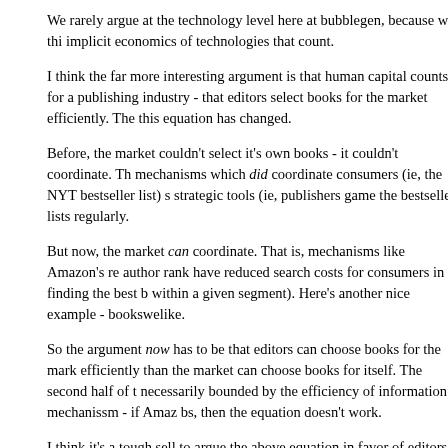We rarely argue at the technology level here at bubblegen, because we thi implicit economics of technologies that count.
I think the far more interesting argument is that human capital counts for a publishing industry - that editors select books for the market efficiently. The this equation has changed.
Before, the market couldn't select it's own books - it couldn't coordinate. Th mechanisms which did coordinate consumers (ie, the NYT bestseller list) s strategic tools (ie, publishers game the bestseller lists regularly.
But now, the market can coordinate. That is, mechanisms like Amazon's re author rank have reduced search costs for consumers in finding the best b within a given segment). Here's another nice example - bookswelike.
So the argument now has to be that editors can choose books for the mark efficiently than the market can choose books for itself. The second half of t necessarily bounded by the efficiency of information mechanissm - if Amaz bs, then the equation doesn't work.
I think it's a tough sell to argue the above equation in favor of editors (or re execs, movie producers, network execs, etc). If we simply look at the blogc Technorati's done almost as good a job in predicting book deals/tv/print exp people have.
But that's only because Technorati is people - it's the market's aggregate p made visible. Which is a fairly incredible thing - it's rarely happened in histo
So, I think now that we can choose what we want, we won't need editors so